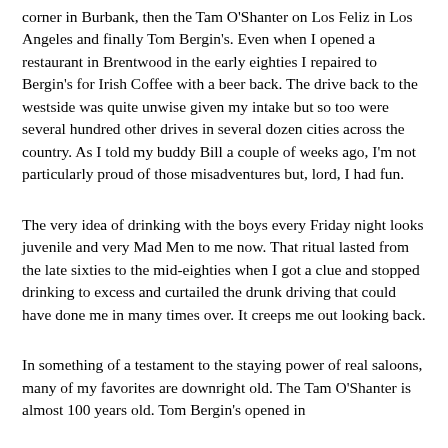corner in Burbank, then the Tam O'Shanter on Los Feliz in Los Angeles and finally Tom Bergin's. Even when I opened a restaurant in Brentwood in the early eighties I repaired to Bergin's for Irish Coffee with a beer back. The drive back to the westside was quite unwise given my intake but so too were several hundred other drives in several dozen cities across the country. As I told my buddy Bill a couple of weeks ago, I'm not particularly proud of those misadventures but, lord, I had fun.
The very idea of drinking with the boys every Friday night looks juvenile and very Mad Men to me now. That ritual lasted from the late sixties to the mid-eighties when I got a clue and stopped drinking to excess and curtailed the drunk driving that could have done me in many times over. It creeps me out looking back.
In something of a testament to the staying power of real saloons, many of my favorites are downright old. The Tam O'Shanter is almost 100 years old. Tom Bergin's opened in